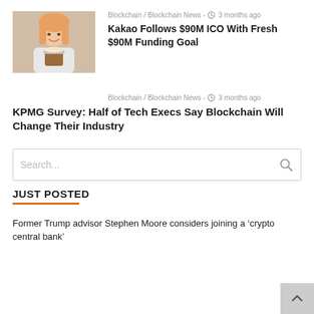[Figure (photo): Photo of a woman holding a drink, likely a coffee or hot chocolate]
Blockchain / Blockchain News - 3 months ago
Kakao Follows $90M ICO With Fresh $90M Funding Goal
Blockchain / Blockchain News - 3 months ago
KPMG Survey: Half of Tech Execs Say Blockchain Will Change Their Industry
Search...
JUST POSTED
Former Trump advisor Stephen Moore considers joining a ‘crypto central bank’